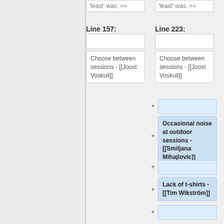'least' was: ==
'least' was: ==
Line 157:
Line 223:
Choose between sessions - [[Joost Voskuil]]
Choose between sessions - [[Joost Voskuil]]
Occasional noise at outdoor sessions - [[Smiljana Mihajlovic]]
Lack of t-shirts - [[Tim Wikström]]
That it wasn't hosted in a hotel